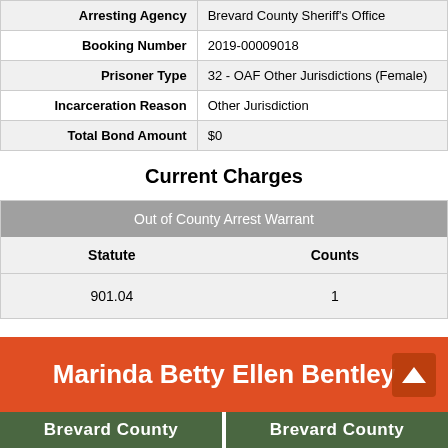| Field | Value |
| --- | --- |
| Arresting Agency | Brevard County Sheriff's Office |
| Booking Number | 2019-00009018 |
| Prisoner Type | 32 - OAF Other Jurisdictions (Female) |
| Incarceration Reason | Other Jurisdiction |
| Total Bond Amount | $0 |
Current Charges
| Out of County Arrest Warrant |
| --- |
| Statute | Counts |
| 901.04 | 1 |
Marinda Betty Ellen Bentley
Brevard County   Brevard County